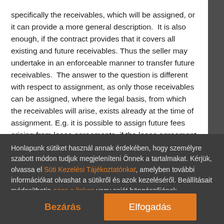specifically the receivables, which will be assigned, or it can provide a more general description. It is also enough, if the contract provides that it covers all existing and future receivables. Thus the seller may undertake in an enforceable manner to transfer future receivables. The answer to the question is different with respect to assignment, as only those receivables can be assigned, where the legal basis, from which the receivables will arise, exists already at the time of assignment. E.g. it is possible to assign future fees arising from lease agreements, if the lease agreement is already concluded
Honlapunk sütiket használ annak érdekében, hogy személyre szabott módon tudjuk megjeleníteni Önnek a tartalmakat. Kérjük, olvassa el Süti Kezelési Tájékoztatónkat, amelyben további információkat olvashat a sütikről és azok kezeléséről. Beállításait módosíthatja ezen a linken vagy saját böngészőjének beállításaiban.
Bezárás | Elfogadás